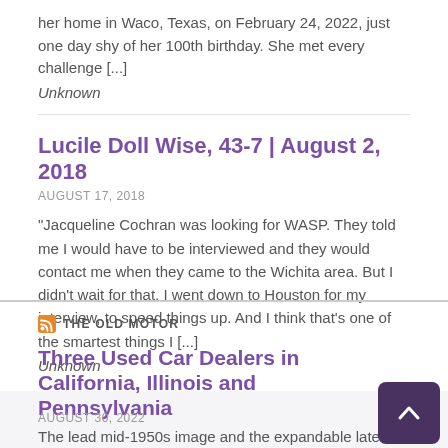her home in Waco, Texas, on February 24, 2022, just one day shy of her 100th birthday. She met every challenge [...]
Unknown
Lucile Doll Wise, 43-7 | August 2, 2018
AUGUST 17, 2018
"Jacqueline Cochran was looking for WASP.  They told me I would have to be interviewed and they would contact me when they came to the Wichita area.  But I didn't wait for that.  I went down to Houston for my interview, to speed things up.  And I think that's one of the smartest things I [...]
Unknown
THE OLD MOTOR
Three Used Car Dealers in California, Illinois and Pennsylvania
AUGUST 30, 2022
The lead mid-1950s image and the expandable late-1950s